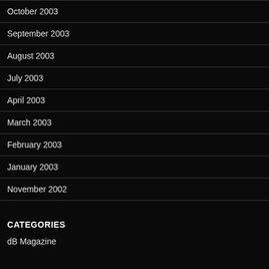October 2003
September 2003
August 2003
July 2003
April 2003
March 2003
February 2003
January 2003
November 2002
CATEGORIES
dB Magazine